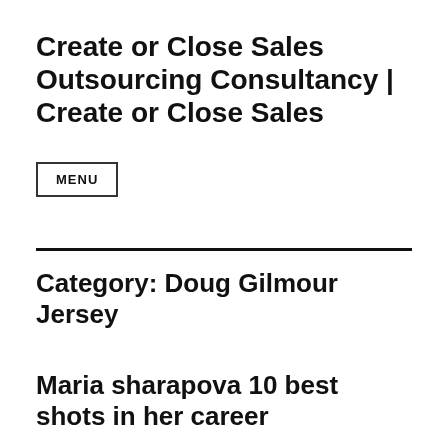Create or Close Sales Outsourcing Consultancy | Create or Close Sales
MENU
Category: Doug Gilmour Jersey
Maria sharapova 10 best shots in her career